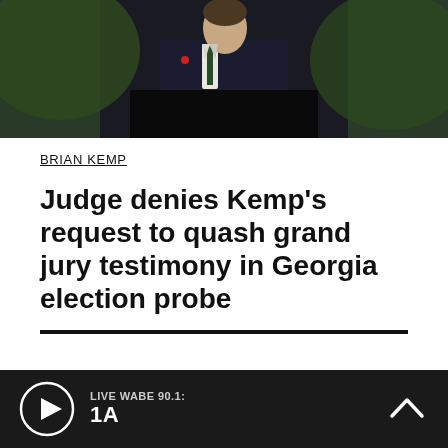[Figure (photo): Photo of a man in a dark suit speaking at a podium with greenery in the background]
BRIAN KEMP
Judge denies Kemp's request to quash grand jury testimony in Georgia election probe
Sponsor
LIVE WABE 90.1: 1A